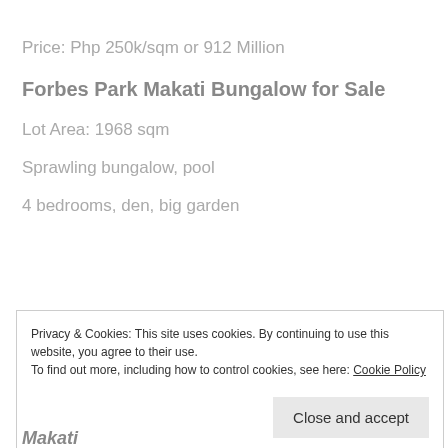Price: Php 250k/sqm or 912 Million
Forbes Park Makati Bungalow for Sale
Lot Area: 1968 sqm
Sprawling bungalow, pool
4 bedrooms, den, big garden
Privacy & Cookies: This site uses cookies. By continuing to use this website, you agree to their use.
To find out more, including how to control cookies, see here: Cookie Policy
Close and accept
Makati